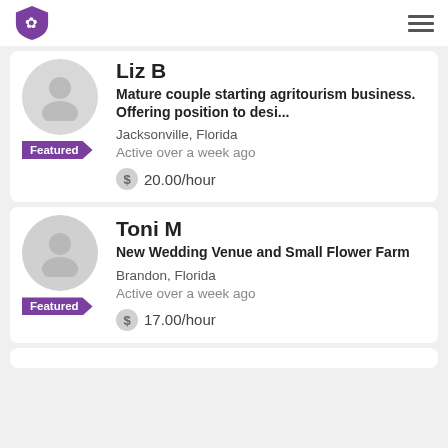[Figure (screenshot): App top navigation bar with purple shield logo and hamburger menu]
Liz B - Mature couple starting agritourism business. Offering position to desi... - Jacksonville, Florida - Active over a week ago - 20.00/hour - Featured
Toni M - New Wedding Venue and Small Flower Farm - Brandon, Florida - Active over a week ago - 17.00/hour - Featured